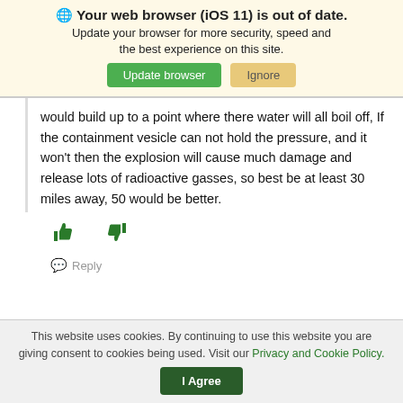🌐 Your web browser (iOS 11) is out of date. Update your browser for more security, speed and the best experience on this site.
Update browser | Ignore
would build up to a point where there water will all boil off, If the containment vesicle can not hold the pressure, and it won't then the explosion will cause much damage and release lots of radioactive gasses, so best be at least 30 miles away, 50 would be better.
[Figure (other): Thumbs up and thumbs down vote icons in green]
Reply
This website uses cookies. By continuing to use this website you are giving consent to cookies being used. Visit our Privacy and Cookie Policy.
I Agree